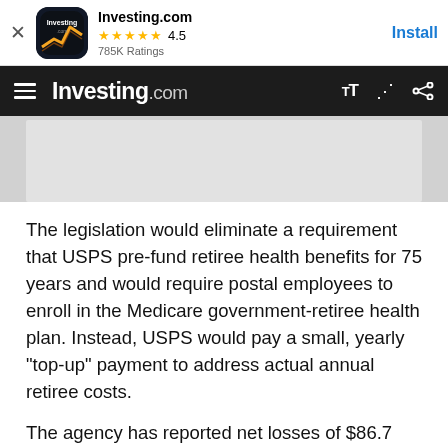[Figure (screenshot): Investing.com app install banner with app icon, 4.5 star rating, 785K Ratings, and Install button]
Investing.com navigation bar with hamburger menu, Investing.com logo, font size toggle, and share icon
[Figure (other): Gray advertisement placeholder area]
The legislation would eliminate a requirement that USPS pre-fund retiree health benefits for 75 years and would require postal employees to enroll in the Medicare government-retiree health plan. Instead, USPS would pay a small, yearly "top-up" payment to address actual annual retiree costs.
The agency has reported net losses of $86.7 billion since 2007. One reason is 2006 legislation mandating